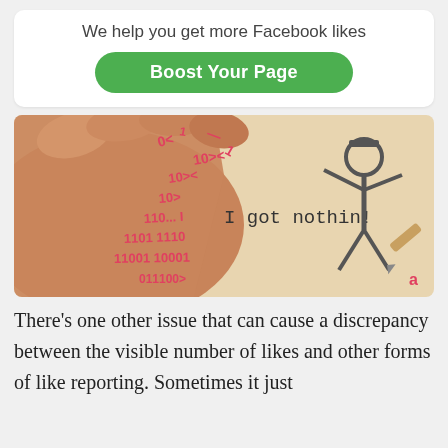We help you get more Facebook likes
Boost Your Page
[Figure (illustration): A hand erasing binary code (red 0s and 1s) from a surface, with a stick figure holding a pencil and text reading 'I got nothin!']
There’s one other issue that can cause a discrepancy between the visible number of likes and other forms of like reporting. Sometimes it just